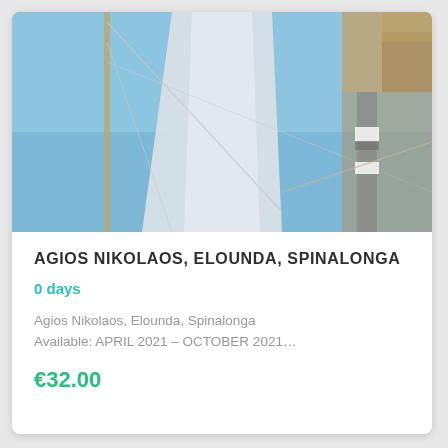[Figure (photo): Close-up view of sailboat mast and white sails against a clear blue sky, with rigging lines and part of the boat structure visible on the right side.]
AGIOS NIKOLAOS, ELOUNDA, SPINALONGA
0 days
Agios Nikolaos, Elounda, Spinalonga
Available: APRIL 2021 – OCTOBER 2021…
€32.00